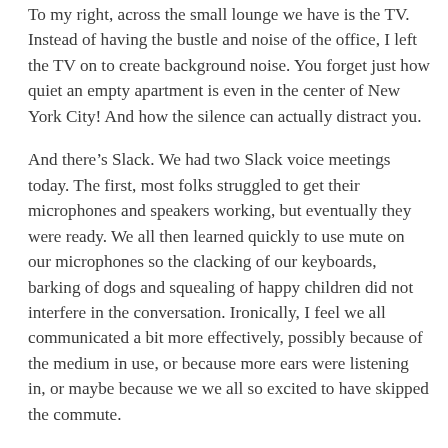To my right, across the small lounge we have is the TV. Instead of having the bustle and noise of the office, I left the TV on to create background noise. You forget just how quiet an empty apartment is even in the center of New York City! And how the silence can actually distract you.
And there's Slack. We had two Slack voice meetings today. The first, most folks struggled to get their microphones and speakers working, but eventually they were ready. We all then learned quickly to use mute on our microphones so the clacking of our keyboards, barking of dogs and squealing of happy children did not interfere in the conversation. Ironically, I feel we all communicated a bit more effectively, possibly because of the medium in use, or because more ears were listening in, or maybe because we we all so excited to have skipped the commute.
Let's see how this works out.